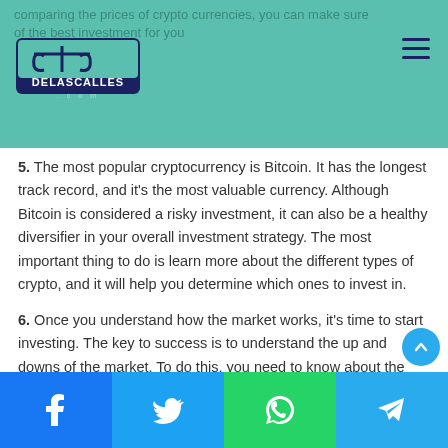comparing the prices of crypto currencies, you can make sure of the best investment for you
[Figure (logo): Delascalles.com logo — blue stylized scale/balance icon with dark blue banner reading DELASCALLES and .com below]
5. The most popular cryptocurrency is Bitcoin. It has the longest track record, and it's the most valuable currency. Although Bitcoin is considered a risky investment, it can also be a healthy diversifier in your overall investment strategy. The most important thing to do is learn more about the different types of crypto, and it will help you determine which ones to invest in.
6. Once you understand how the market works, it's time to start investing. The key to success is to understand the up and downs of the market. To do this, you need to know about the major currencies. Some of the most popular coins include Bitcoin, Ethereum, and Dogecoin, and other newer ones ha...
Facebook | Twitter | WhatsApp | Telegram